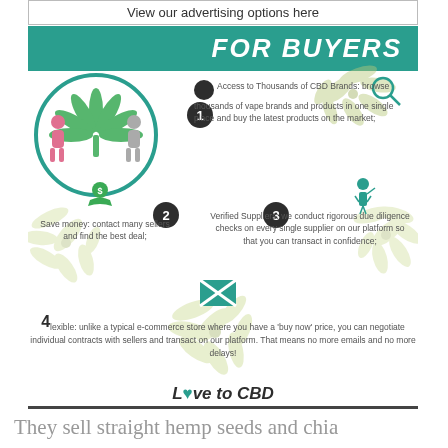View our advertising options here
FOR BUYERS
1 Access to Thousands of CBD Brands: browse thousands of vape brands and products in one single place and buy the latest products on the market;
2 Save money: contact many sellers and find the best deal;
3 Verified Suppliers: we conduct rigorous due diligence checks on every single supplier on our platform so that you can transact in confidence;
4 lexible: unlike a typical e-commerce store where you have a 'buy now' price, you can negotiate individual contracts with sellers and transact on our platform. That means no more emails and no more delays!
[Figure (infographic): Love to CBD logo with cannabis leaf illustration circle and decorative hemp leaves]
Love to CBD
They sell straight hemp seeds and chia